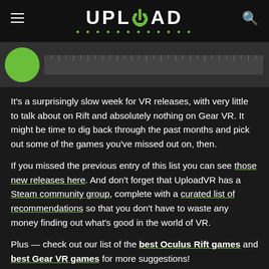UPLOAD
[Figure (photo): Partial view of a green circle and a ruler/timeline strip against a dark background]
It's a surprisingly slow week for VR releases, with very little to talk about on Rift and absolutely nothing on Gear VR. It might be time to dig back through the past months and pick out some of the games you've missed out on, then.
If you missed the previous entry of this list you can see those new releases here. And don't forget that UploadVR has a Steam community group, complete with a curated list of recommendations so that you don't have to waste any money finding out what's good in the world of VR.
Plus — check out our list of the best Oculus Rift games and best Gear VR games for more suggestions!
The Big Releases